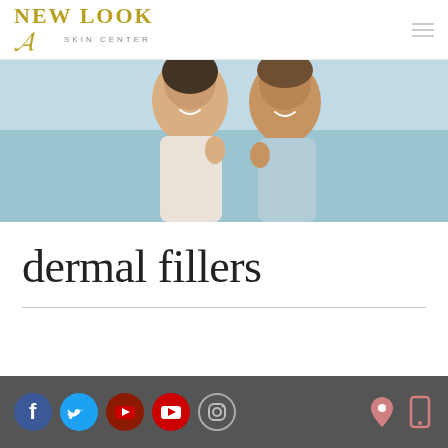[Figure (logo): New Look Skin Center logo with gold stylized text and cursive accent]
[Figure (photo): Hero banner photo of smiling couple at the beach]
dermal fillers
[Figure (infographic): Footer with social media icons: Facebook, Twitter, YouTube (x2), Instagram, and location/phone icons on right]